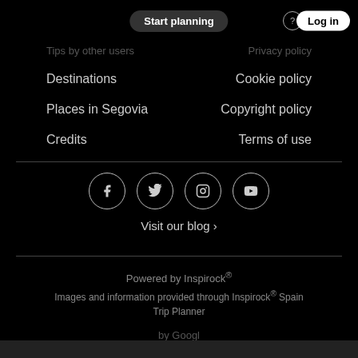Start planning   places & activities   ?   Log in
Tips by other users   Privacy policy
Destinations   Cookie policy
Places in Segovia   Copyright policy
Credits   Terms of use
[Figure (infographic): Row of four social media icons in circles: Facebook, Twitter, Instagram, YouTube]
Visit our blog ›
Powered by Inspirock®
Images and information provided through Inspirock® Spain Trip Planner